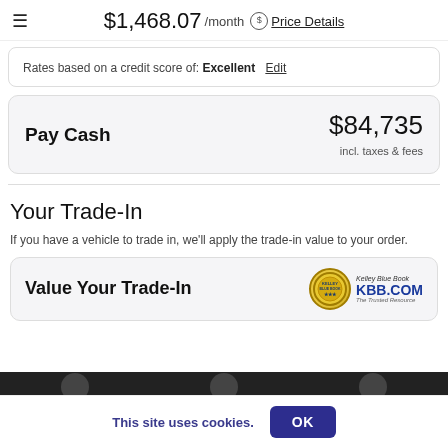$1,468.07 /month  Price Details
Rates based on a credit score of: Excellent  Edit
Pay Cash   $84,735  incl. taxes & fees
Your Trade-In
If you have a vehicle to trade in, we'll apply the trade-in value to your order.
Value Your Trade-In
This site uses cookies.